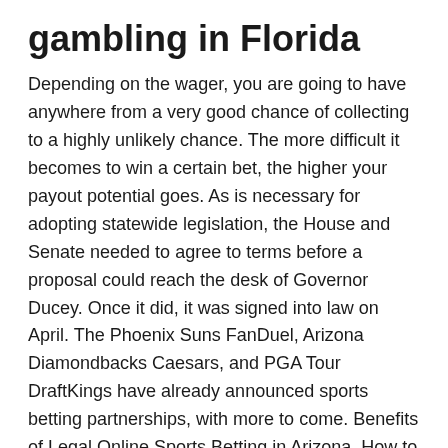gambling in Florida
Depending on the wager, you are going to have anywhere from a very good chance of collecting to a highly unlikely chance. The more difficult it becomes to win a certain bet, the higher your payout potential goes. As is necessary for adopting statewide legislation, the House and Senate needed to agree to terms before a proposal could reach the desk of Governor Ducey. Once it did, it was signed into law on April. The Phoenix Suns FanDuel, Arizona Diamondbacks Caesars, and PGA Tour DraftKings have already announced sports betting partnerships, with more to come. Benefits of Legal Online Sports Betting in Arizona. How to Bet on College Football Online. The Best College Football Betting Sites. Credit card, debit card, wire transfer, Bitcoin, Bitcoin Cash, Ripple, Ethereum, NFL, baseball, ice hockey, tennis, and